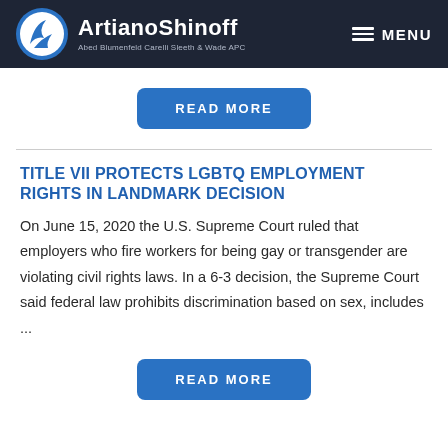ArtianoShinoff Abed Blumenfeld Carelli Sleeth & Wade APC | MENU
[Figure (other): READ MORE button (blue rounded rectangle)]
TITLE VII PROTECTS LGBTQ EMPLOYMENT RIGHTS IN LANDMARK DECISION
On June 15, 2020 the U.S. Supreme Court ruled that employers who fire workers for being gay or transgender are violating civil rights laws. In a 6-3 decision, the Supreme Court said federal law prohibits discrimination based on sex, includes ...
[Figure (other): READ MORE button (blue rounded rectangle)]